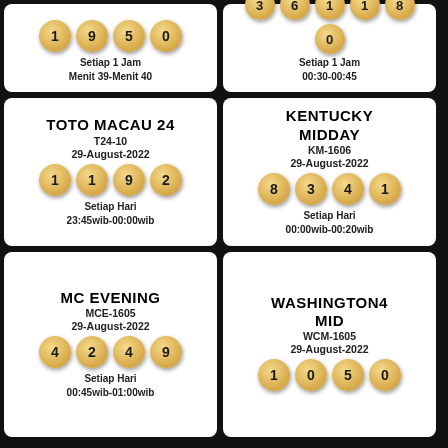[Figure (infographic): Top-left partial lottery card showing balls 1,9,5,0 and schedule text 'Setiap 1 Jam / Menit 39-Menit 40']
[Figure (infographic): Top-right partial lottery card showing balls 3,6,1,1,8 and extra ball 0, schedule text 'Setiap 1 Jam / 00:30-00:45']
[Figure (infographic): TOTO MACAU 24 lottery card: T24-10, 29-August-2022, balls 1,1,9,2, Setiap Hari, 23:45wib-00:00wib]
[Figure (infographic): KENTUCKY MIDDAY lottery card: KM-1606, 29-August-2022, balls 8,3,4,1, Setiap Hari, 00:00wib-00:20wib]
[Figure (infographic): MC EVENING lottery card: MCE-1605, 29-August-2022, balls 4,2,4,9, Setiap Hari, 00:45wib-01:00wib]
[Figure (infographic): WASHINGTON4 MID lottery card: WCM-1605, 29-August-2022, balls 1,0,5,0]